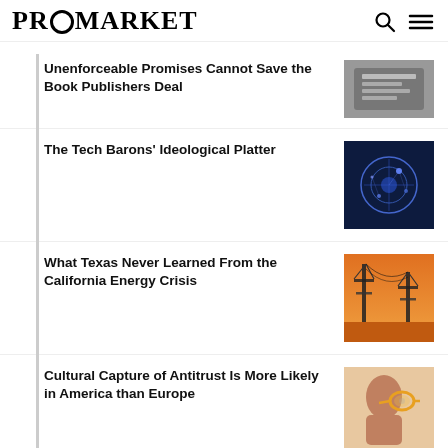PROMARKET
Unenforceable Promises Cannot Save the Book Publishers Deal
The Tech Barons' Ideological Platter
What Texas Never Learned From the California Energy Crisis
Cultural Capture of Antitrust Is More Likely in America than Europe